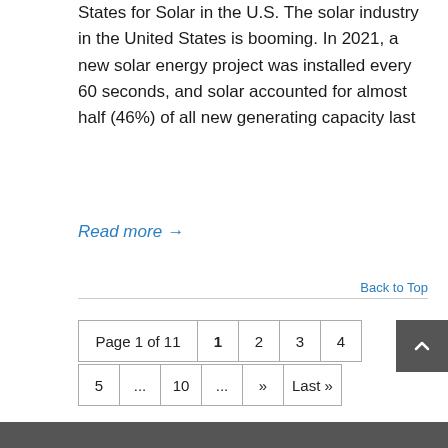States for Solar in the U.S. The solar industry in the United States is booming. In 2021, a new solar energy project was installed every 60 seconds, and solar accounted for almost half (46%) of all new generating capacity last
Read more →
Back to Top
Page 1 of 11  1  2  3  4  5  ...  10  ...  »  Last »